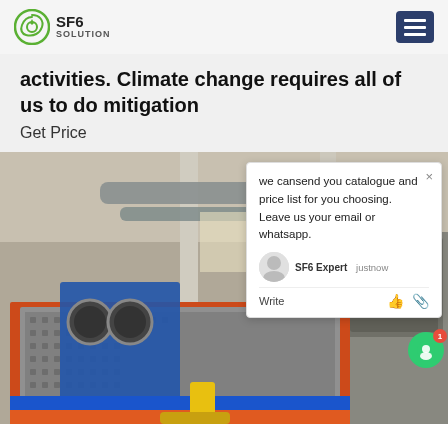SF6 SOLUTION
activities.  Climate change requires all of us to do mitigation
Get Price
[Figure (photo): Industrial SF6 gas handling equipment machine in a factory/warehouse setting. Orange and blue machine in foreground with industrial piping and large electrical equipment in background.]
we cansend you catalogue and price list for you choosing. Leave us your email or whatsapp. SF6 Expert justnow Write